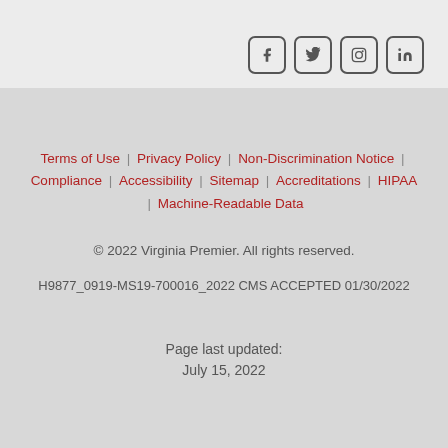[Figure (other): Social media icons: Facebook, Twitter, Instagram, LinkedIn — rounded square buttons in top right]
Terms of Use | Privacy Policy | Non-Discrimination Notice | Compliance | Accessibility | Sitemap | Accreditations | HIPAA | Machine-Readable Data
© 2022 Virginia Premier. All rights reserved.
H9877_0919-MS19-700016_2022 CMS ACCEPTED 01/30/2022
Page last updated:
July 15, 2022